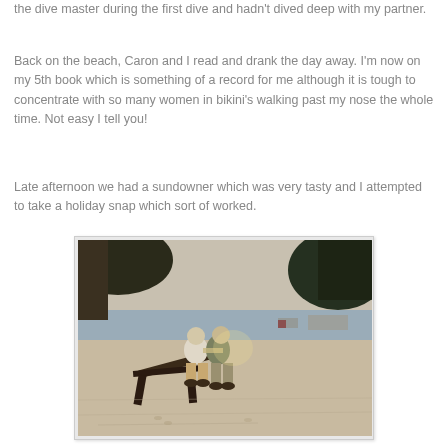the dive master during the first dive and hadn't dived deep with my partner.
Back on the beach, Caron and I read and drank the day away. I'm now on my 5th book which is something of a record for me although it is tough to concentrate with so many women in bikini's walking past my nose the whole time. Not easy I tell you!
Late afternoon we had a sundowner which was very tasty and I attempted to take a holiday snap which sort of worked.
[Figure (photo): Two people sitting together on a beach lounge chair under trees, with sandy beach and water visible in the background. Appears to be late afternoon lighting.]